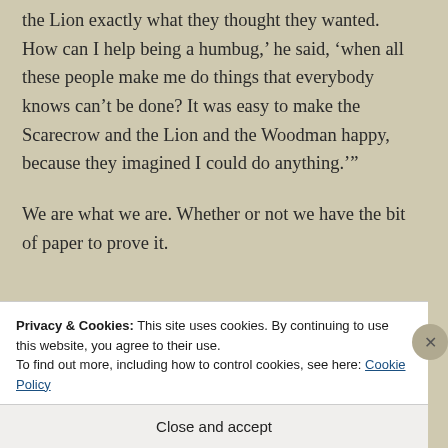the Lion exactly what they thought they wanted. How can I help being a humbug,' he said, 'when all these people make me do things that everybody knows can't be done? It was easy to make the Scarecrow and the Lion and the Woodman happy, because they imagined I could do anything.'
We are what we are. Whether or not we have the bit of paper to prove it.
M... (partial text cut off)
Privacy & Cookies: This site uses cookies. By continuing to use this website, you agree to their use.
To find out more, including how to control cookies, see here: Cookie Policy
Close and accept